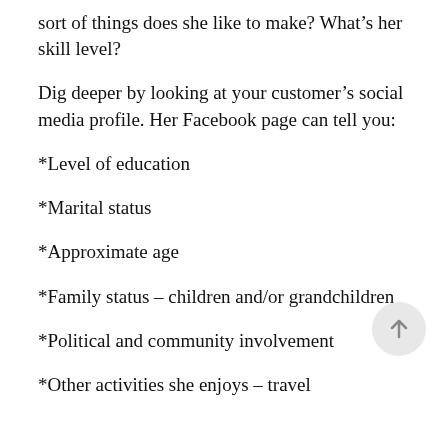sort of things does she like to make? What’s her skill level?
Dig deeper by looking at your customer’s social media profile. Her Facebook page can tell you:
*Level of education
*Marital status
*Approximate age
*Family status – children and/or grandchildren
*Political and community involvement
*Other activities she enjoys – travel